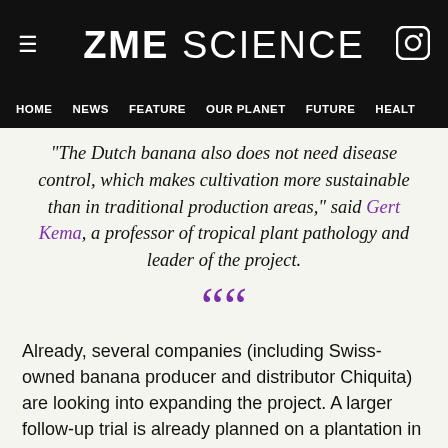ZME SCIENCE
HOME  NEWS  FEATURE  OUR PLANET  FUTURE  HEALT
“The Dutch banana also does not need disease control, which makes cultivation more sustainable than in traditional production areas,” said Gert Kema, a professor of tropical plant pathology and leader of the project.
““
Already, several companies (including Swiss-owned banana producer and distributor Chiquita) are looking into expanding the project. A larger follow-up trial is already planned on a plantation in the Philippines